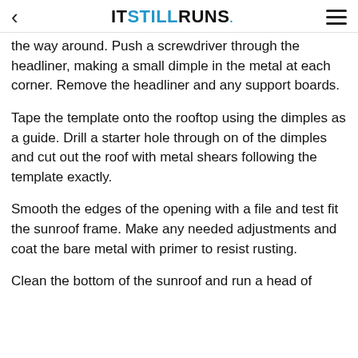ITSTILLRUNS.
the way around. Push a screwdriver through the headliner, making a small dimple in the metal at each corner. Remove the headliner and any support boards.
Tape the template onto the rooftop using the dimples as a guide. Drill a starter hole through on of the dimples and cut out the roof with metal shears following the template exactly.
Smooth the edges of the opening with a file and test fit the sunroof frame. Make any needed adjustments and coat the bare metal with primer to resist rusting.
Clean the bottom of the sunroof and run a head of